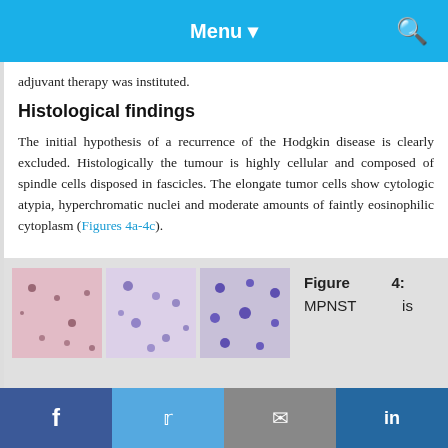Menu
adjuvant therapy was instituted.
Histological findings
The initial hypothesis of a recurrence of the Hodgkin disease is clearly excluded. Histologically the tumour is highly cellular and composed of spindle cells disposed in fascicles. The elongate tumor cells show cytologic atypia, hyperchromatic nuclei and moderate amounts of faintly eosinophilic cytoplasm (Figures 4a-4c).
[Figure (photo): Three histological microscopy images showing MPNST tissue sections with cellular detail]
Figure 4: MPNST is
f  Twitter  Email  in